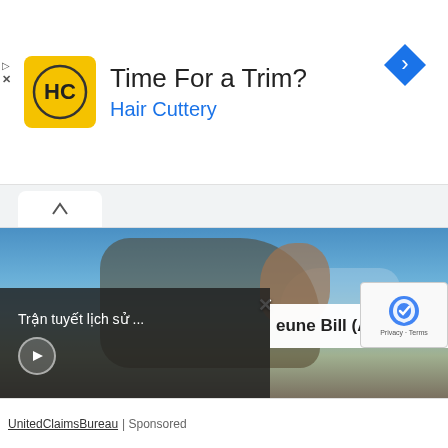[Figure (infographic): Hair Cuttery advertisement banner with yellow logo, 'Time For a Trim?' heading, 'Hair Cuttery' subtitle in blue, navigation icon top right, and small ad control icons left.]
[Figure (photo): Military service member in camouflage gear drinking from a hose near a waterfront, with other military personnel and vehicles in the background. A video overlay appears in the bottom-left showing 'Tran tuyet lich su ...' with a play button. Partial article title 'eune Bill (A' visible at bottom right. reCAPTCHA badge bottom right corner.]
UnitedClaimsBureau | Sponsored